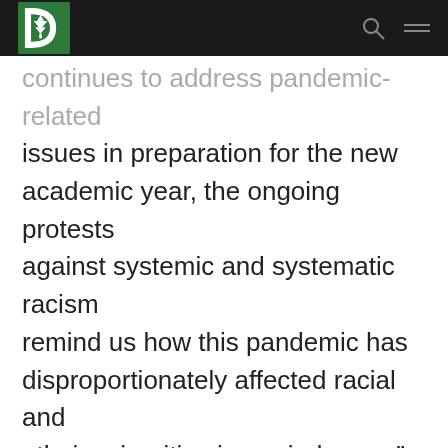Dartmouth College navigation header with logo, search icon, and hamburger menu
continues to address pandemic-related issues in preparation for the new academic year, the ongoing protests against systemic and systematic racism remind us how this pandemic has disproportionately affected racial and ethnic minorities in myriad ways,” wrote Adams and Keniston. “At a time when there is so much need for dialogue and community across our country, it is especially frustrating to be unable to be